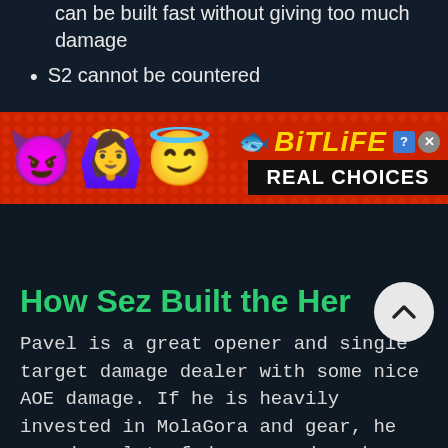can be built fast without giving too much damage
S2 cannot be countered
[Figure (infographic): BitLife - Real Choices advertisement banner with emoji characters (devil, person with hands up, angel) and sperm icon on red dotted background]
How Sez Built the Her
Pavel is a great opener and single target damage dealer with some nice AOE damage. If he is heavily invested in MolaGora and gear, he can do a lot of damage and work against many teams. If he is paired with Challenger Dominial and other cleave team, he can